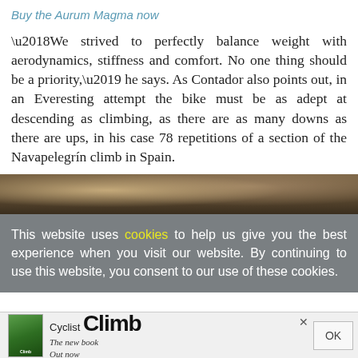Buy the Aurum Magma now
‘We strived to perfectly balance weight with aerodynamics, stiffness and comfort. No one thing should be a priority,’ he says. As Contador also points out, in an Everesting attempt the bike must be as adept at descending as climbing, as there are as many downs as there are ups, in his case 78 repetitions of a section of the Navapelegrín climb in Spain.
[Figure (photo): Partial photo strip showing a bicycle or related outdoor scene, partially obscured by cookie consent overlay]
This website uses cookies to help us give you the best experience when you visit our website. By continuing to use this website, you consent to our use of these cookies.
[Figure (advertisement): Advertisement for Cyclist Climb book. Shows book cover thumbnail, text 'Cyclist Climb' in large bold font, and 'The new book Out now' subtitle. Has close X button and OK button.]